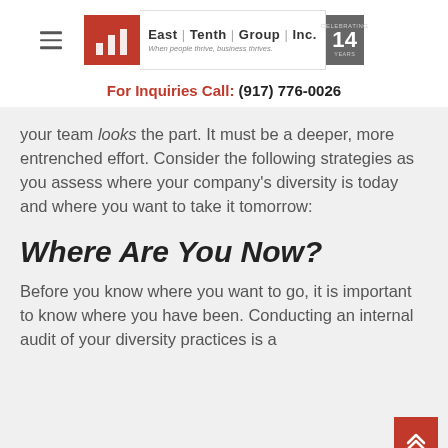East Tenth Group Inc. — For Inquiries Call: (917) 776-0026
your team looks the part. It must be a deeper, more entrenched effort. Consider the following strategies as you assess where your company's diversity is today and where you want to take it tomorrow:
Where Are You Now?
Before you know where you want to go, it is important to know where you have been. Conducting an internal audit of your diversity practices is a